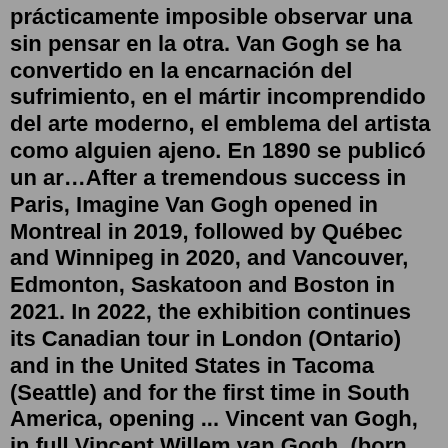prácticamente imposible observar una sin pensar en la otra. Van Gogh se ha convertido en la encarnación del sufrimiento, en el mártir incomprendido del arte moderno, el emblema del artista como alguien ajeno. En 1890 se publicó un ar…After a tremendous success in Paris, Imagine Van Gogh opened in Montreal in 2019, followed by Québec and Winnipeg in 2020, and Vancouver, Edmonton, Saskatoon and Boston in 2021. In 2022, the exhibition continues its Canadian tour in London (Ontario) and in the United States in Tacoma (Seattle) and for the first time in South America, opening ... Vincent van Gogh, in full Vincent Willem van Gogh, (born March 30, 1853, Zundert, Netherlands—died July 29, 1890, Auvers-sur-Oise, near Paris, France), Dutch painter, generally considered the greatest after Rembrandt van Rijn, and one of the greatest of the Post-Impressionists. The striking colour, emphatic brushwork, and contoured forms of his work powerfully influenced the current of ...Zebrowski has twice visited the asylum where Vincent Van Gogh